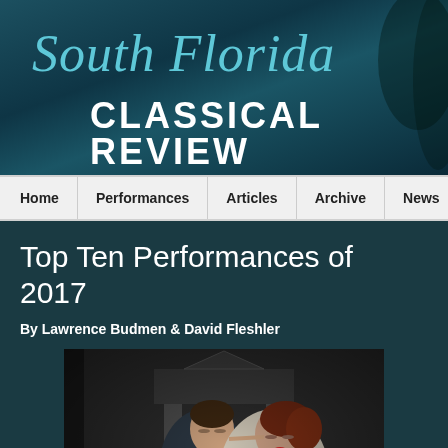South Florida CLASSICAL REVIEW
Home | Performances | Articles | Archive | News | Ab...
Top Ten Performances of 2017
By Lawrence Budmen & David Fleshler
[Figure (photo): Opera performance photo showing two singers in period costume — a man in a dark military-style jacket with his eyes closed leaning against a woman with red hair in a light-colored dress, both in front of a classical architectural backdrop with a triangular pediment.]